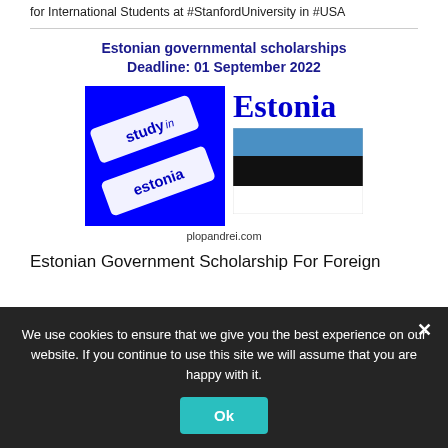for International Students at #StanfordUniversity in #USA
Estonian governmental scholarships
Deadline: 01 September 2022
[Figure (illustration): Study in Estonia logo (blue square with white angled text) and Estonian flag (blue, black, white horizontal stripes) with Estonia text, and plopandrei.com watermark]
Estonian Government Scholarship For Foreign
We use cookies to ensure that we give you the best experience on our website. If you continue to use this site we will assume that you are happy with it.